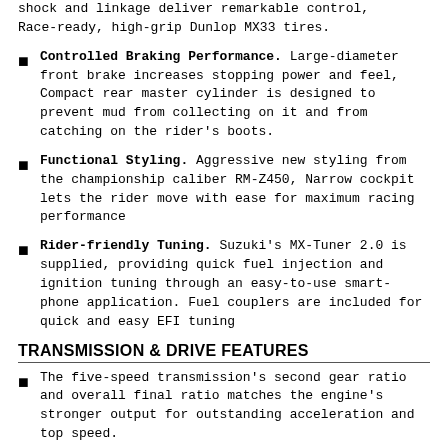shock and linkage deliver remarkable control, Race-ready, high-grip Dunlop MX33 tires.
Controlled Braking Performance. Large-diameter front brake increases stopping power and feel, Compact rear master cylinder is designed to prevent mud from collecting on it and from catching on the rider’s boots.
Functional Styling. Aggressive new styling from the championship caliber RM-Z450, Narrow cockpit lets the rider move with ease for maximum racing performance
Rider-friendly Tuning. Suzuki’s MX-Tuner 2.0 is supplied, providing quick fuel injection and ignition tuning through an easy-to-use smart-phone application. Fuel couplers are included for quick and easy EFI tuning
TRANSMISSION & DRIVE FEATURES
The five-speed transmission’s second gear ratio and overall final ratio matches the engine’s stronger output for outstanding acceleration and top speed.
True to Suzuki transmission standards, the gear shift operation is smooth and precise. Carefully designed parts like the precisely machined shift